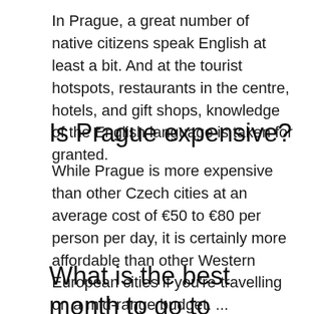In Prague, a great number of native citizens speak English at least a bit. And at the tourist hotspots, restaurants in the centre, hotels, and gift shops, knowledge of the English language is taken for granted.
Is Prague expensive?
While Prague is more expensive than other Czech cities at an average cost of €50 to €80 per person per day, it is certainly more affordable than other Western European cities if you're travelling on a mid-range budget. ...
What is the best month to go to Prague?